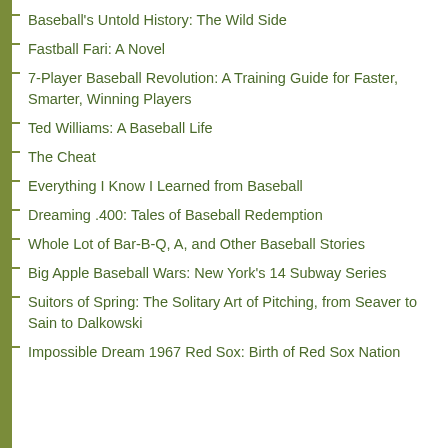Baseball's Untold History: The Wild Side
Fastball Fari: A Novel
7-Player Baseball Revolution: A Training Guide for Faster, Smarter, Winning Players
Ted Williams: A Baseball Life
The Cheat
Everything I Know I Learned from Baseball
Dreaming .400: Tales of Baseball Redemption
Whole Lot of Bar-B-Q, A, and Other Baseball Stories
Big Apple Baseball Wars: New York's 14 Subway Series
Suitors of Spring: The Solitary Art of Pitching, from Seaver to Sain to Dalkowski
Impossible Dream 1967 Red Sox: Birth of Red Sox Nation